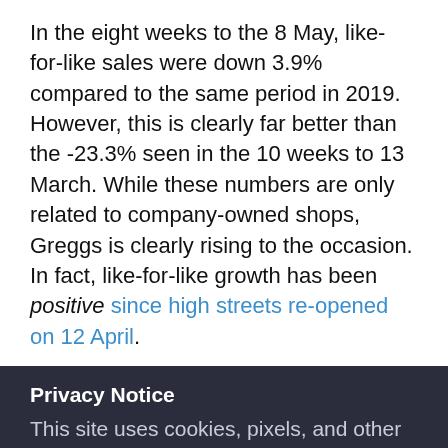In the eight weeks to the 8 May, like-for-like sales were down 3.9% compared to the same period in 2019. However, this is clearly far better than the -23.3% seen in the 10 weeks to 13 March. While these numbers are only related to company-owned shops, Greggs is clearly rising to the occasion. In fact, like-for-like growth has been positive since high streets re-opened on 12 April.
Privacy Notice
This site uses cookies, pixels, and other similar technologies to improve your web site experience and to deliver you personalised ads about our own and third party products and services. Please read more about how we collect and use data about you